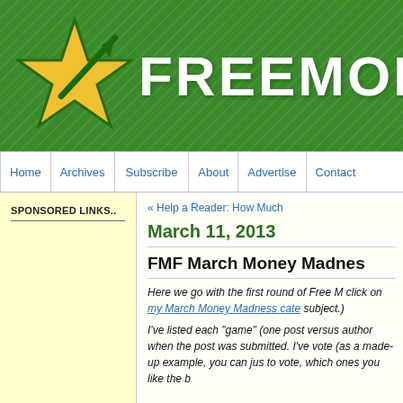[Figure (logo): FreeMoney Finance blog header banner with green striped background, yellow star logo, and white FREEMONE text]
Home | Archives | Subscribe | About | Advertise | Contact
SPONSORED LINKS..
« Help a Reader: How Much
March 11, 2013
FMF March Money Madnes
Here we go with the first round of Free M click on my March Money Madness cate subject.)
I've listed each "game" (one post versus author when the post was submitted. I've vote (as a made-up example, you can jus to vote, which ones you like the b